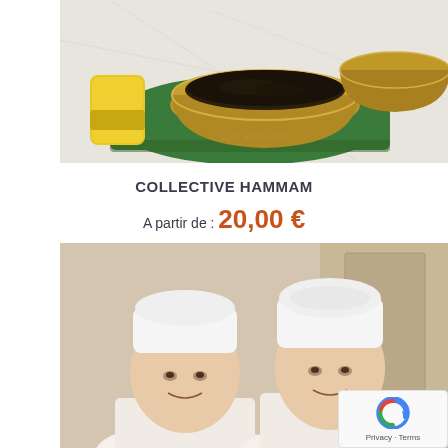[Figure (photo): A brass bowl filled with dark ghassoul clay/mud on a green cloth, with a yellow scrubbing mitt visible on the left, on a marble surface. A second brass bowl partially visible in the background.]
COLLECTIVE HAMMAM
A partir de : 20,00 €
[Figure (photo): Two women wearing white towels wrapped around their heads smiling at the camera, in a spa/hammam setting.]